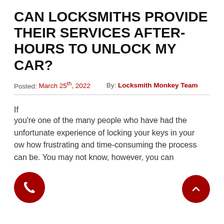CAN LOCKSMITHS PROVIDE THEIR SERVICES AFTER-HOURS TO UNLOCK MY CAR?
Posted: March 25th, 2022   By: Locksmith Monkey Team
If you're one of the many people who have had the unfortunate experience of locking your keys in your [car, you kn]ow how frustrating and time-consuming the process can be. You may not know, however, you can